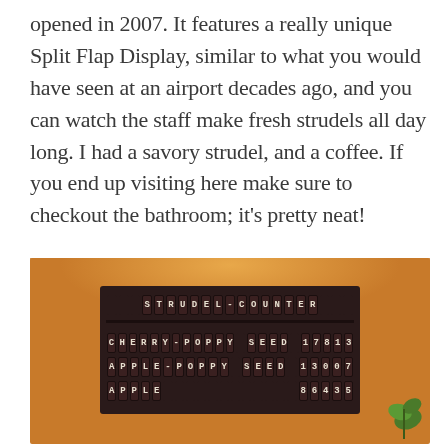opened in 2007. It features a really unique Split Flap Display, similar to what you would have seen at an airport decades ago, and you can watch the staff make fresh strudels all day long. I had a savory strudel, and a coffee. If you end up visiting here make sure to checkout the bathroom; it's pretty neat!
[Figure (photo): Photo of a split flap display board mounted on an orange/amber wall, showing 'STRUDEL-COUNTER' as the title row and strudel types with counts: CHERRY-POPPY SEED 17813, APPLE-POPPY SEED 13007, APPLE 86435. A green plant is visible in the bottom right corner.]